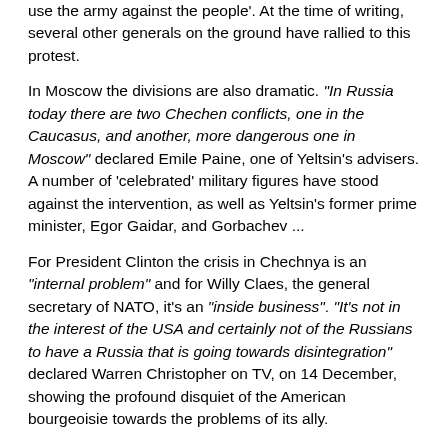use the army against the people'. At the time of writing, several other generals on the ground have rallied to this protest.
In Moscow the divisions are also dramatic. "In Russia today there are two Chechen conflicts, one in the Caucasus, and another, more dangerous one in Moscow" declared Emile Paine, one of Yeltsin's advisers. A number of 'celebrated' military figures have stood against the intervention, as well as Yeltsin's former prime minister, Egor Gaidar, and Gorbachev ...
For President Clinton the crisis in Chechnya is an "internal problem" and for Willy Claes, the general secretary of NATO, it's an "inside business". "It's not in the interest of the USA and certainly not of the Russians to have a Russia that is going towards disintegration" declared Warren Christopher on TV, on 14 December, showing the profound disquiet of the American bourgeoisie towards the problems of its ally.
But the problem is not so "internal" as one might be led to believe. On the one hand because Chechnya has a certain sympathy from foreign forces, in particular neighboring Turkey and, probably, from Germany. On the other hand because this situation is only a spectacular